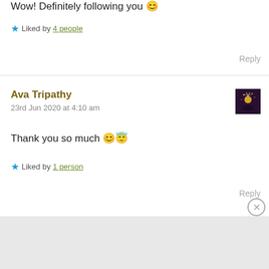Wow! Definitely following you 😊
★ Liked by 4 people
Reply
Ava Tripathy
23rd Jun 2020 at 4:10 am
Thank you so much 😊😇
★ Liked by 1 person
Reply
[Figure (photo): User avatar thumbnail showing dark background with sparkling light figure]
Advertisements
[Figure (screenshot): Pocket Casts advertisement banner: An app by listeners, for listeners. Red background with phone image and Pocket Casts logo.]